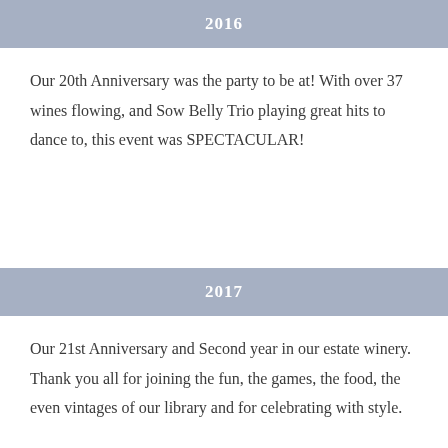2016
Our 20th Anniversary was the party to be at! With over 37 wines flowing, and Sow Belly Trio playing great hits to dance to, this event was SPECTACULAR!
2017
Our 21st Anniversary and Second year in our estate winery. Thank you all for joining the fun, the games, the food, the even vintages of our library and for celebrating with style.